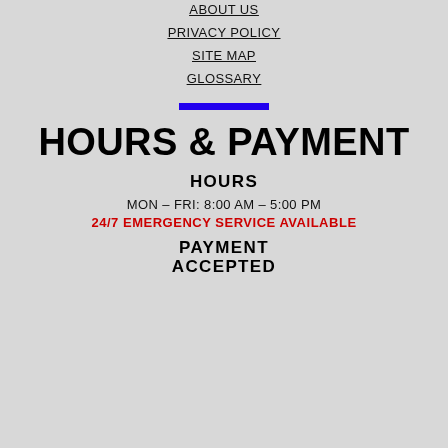ABOUT US
PRIVACY POLICY
SITE MAP
GLOSSARY
[Figure (other): Blue horizontal rule/divider bar]
HOURS & PAYMENT
HOURS
MON – FRI: 8:00 AM – 5:00 PM
24/7 EMERGENCY SERVICE AVAILABLE
PAYMENT ACCEPTED